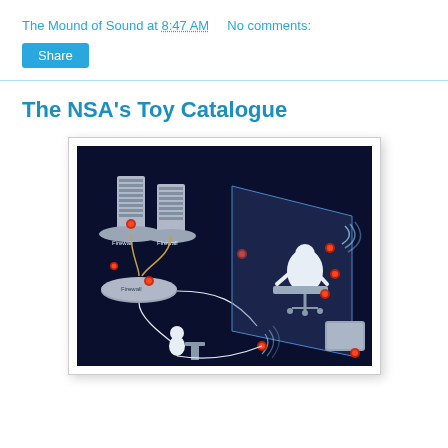The Mound of Sound at 8:47 AM    No comments:
Share
The NSA's Toy Catalogue
[Figure (illustration): Dark blue isometric illustration showing a network surveillance scene with server towers labeled 'Firewall', a person in white sitting at a computer workstation, wireless signal waves, cables connecting network components, and red dot indicators marking surveillance/intercept points throughout the network diagram.]